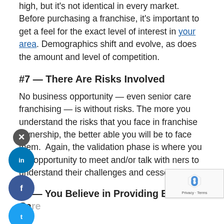high, but it's not identical in every market. Before purchasing a franchise, it's important to get a feel for the exact level of interest in your area. Demographics shift and evolve, as does the amount and level of competition.
#7 — There Are Risks Involved
No business opportunity — even senior care franchising — is without risks. The more you understand the risks that you face in franchise ownership, the better able you will be to face them. Again, the validation phase is where you the opportunity to meet and/or talk with ners to understand their challenges and cesses.
#8 — You Believe in Providing Excellent Care